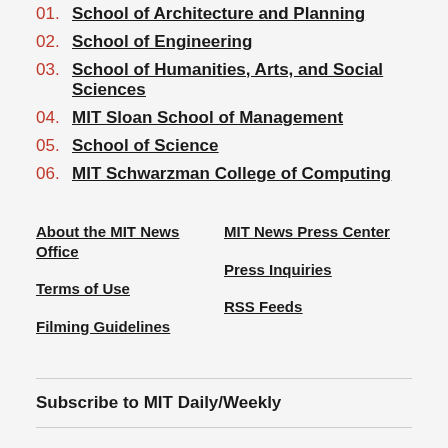01. School of Architecture and Planning
02. School of Engineering
03. School of Humanities, Arts, and Social Sciences
04. MIT Sloan School of Management
05. School of Science
06. MIT Schwarzman College of Computing
About the MIT News Office
MIT News Press Center
Terms of Use
Press Inquiries
Filming Guidelines
RSS Feeds
Subscribe to MIT Daily/Weekly